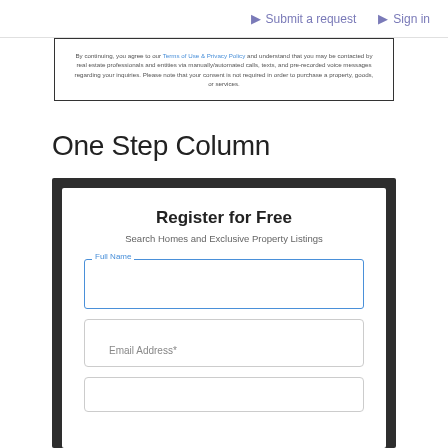Submit a request   Sign in
By continuing, you agree to our Terms of Use & Privacy Policy and understand that you may be contacted by real estate professionals and entities via manually/automated calls, texts, and pre-recorded voice messages regarding your inquiries. Please note that your consent is not required in order to purchase a property, goods, or services.
One Step Column
Register for Free
Search Homes and Exclusive Property Listings
Full Name
Email Address*